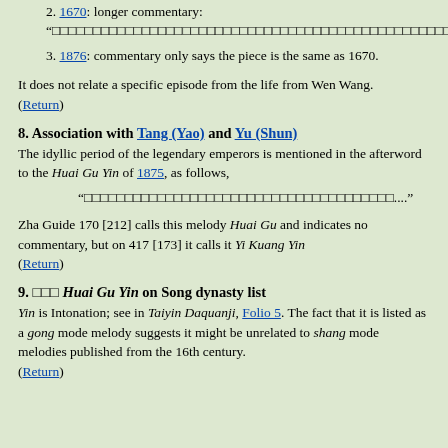2. 1670: longer commentary: "[Chinese characters]"
3. 1876: commentary only says the piece is the same as 1670.
It does not relate a specific episode from the life from Wen Wang.
(Return)
8. Association with Tang (Yao) and Yu (Shun)
The idyllic period of the legendary emperors is mentioned in the afterword to the Huai Gu Yin of 1875, as follows,
"[Chinese characters]...."
Zha Guide 170 [212] calls this melody Huai Gu and indicates no commentary, but on 417 [173] it calls it Yi Kuang Yin
(Return)
9. [Chinese] Huai Gu Yin on Song dynasty list
Yin is Intonation; see in Taiyin Daquanji, Folio 5. The fact that it is listed as a gong mode melody suggests it might be unrelated to shang mode melodies published from the 16th century.
(Return)